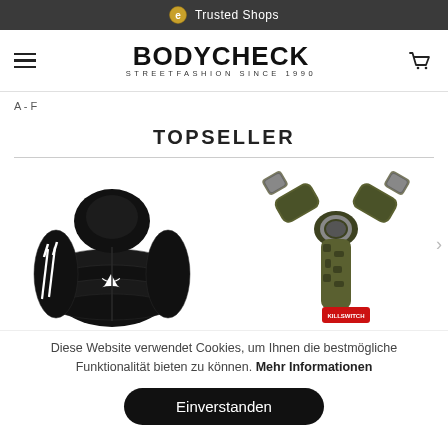Trusted Shops
[Figure (screenshot): BODYCHECK STREETFASHION SINCE 1990 logo with hamburger menu and cart icon navigation bar]
A - F
TOPSELLER
[Figure (photo): Two product images: left - black Adidas puffer jacket with white stripes; right - camouflage Y-shaped accessory/backpack straps with buckles. Arrow indicating more items to the right.]
Diese Website verwendet Cookies, um Ihnen die bestmögliche Funktionalität bieten zu können. Mehr Informationen
Einverstanden